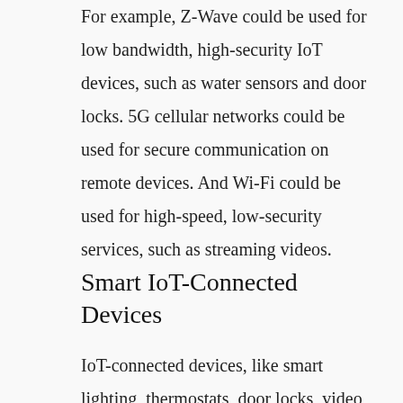For example, Z-Wave could be used for low bandwidth, high-security IoT devices, such as water sensors and door locks. 5G cellular networks could be used for secure communication on remote devices. And Wi-Fi could be used for high-speed, low-security services, such as streaming videos.
Smart IoT-Connected Devices
IoT-connected devices, like smart lighting, thermostats, door locks, video